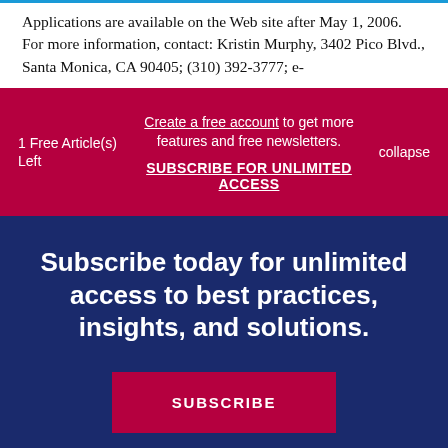Applications are available on the Web site after May 1, 2006. For more information, contact: Kristin Murphy, 3402 Pico Blvd., Santa Monica, CA 90405; (310) 392-3777; e-
1 Free Article(s) Left
Create a free account to get more features and free newsletters.
SUBSCRIBE FOR UNLIMITED ACCESS
collapse
Subscribe today for unlimited access to best practices, insights, and solutions.
SUBSCRIBE